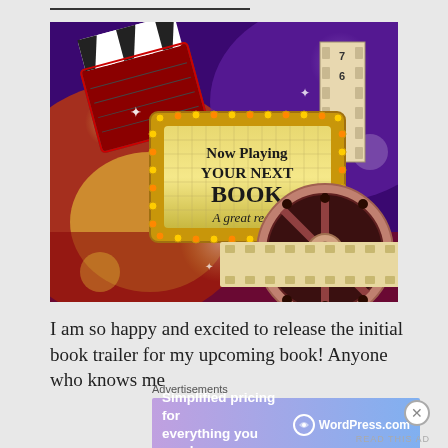[Figure (illustration): Movie/cinema themed promotional illustration with a marquee sign reading 'Now Playing YOUR NEXT BOOK A great read!', film clapper board, film reels, on a colorful bokeh background with warm yellows, purples, and reds.]
I am so happy and excited to release the initial book trailer for my upcoming book! Anyone who knows me
Advertisements
[Figure (screenshot): WordPress.com advertisement banner reading 'Simplified pricing for everything you need.' with WordPress.com logo on a blue/purple gradient background.]